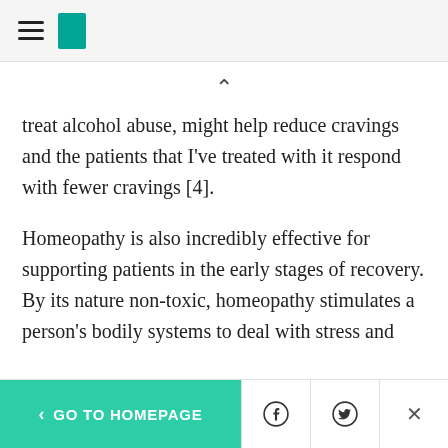[HuffPost navigation bar with hamburger menu and logo]
treat alcohol abuse, might help reduce cravings and the patients that I've treated with it respond with fewer cravings [4].
Homeopathy is also incredibly effective for supporting patients in the early stages of recovery. By its nature non-toxic, homeopathy stimulates a person's bodily systems to deal with stress and illness more efficiently. Research is currently being undertaken to understand how and why these remedies work on the mental and physical level
< GO TO HOMEPAGE | Facebook | Twitter | X